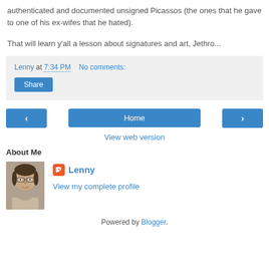authenticated and documented unsigned Picassos (the ones that he gave to one of his ex-wifes that he hated).
That will learn y'all a lesson about signatures and art, Jethro...
Lenny at 7:34 PM   No comments:
Share
‹  Home  ›
View web version
About Me
Lenny
View my complete profile
Powered by Blogger.